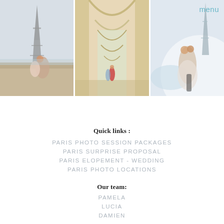[Figure (photo): Three photos of couples in Paris. Left: couple sitting on a wall with the Eiffel Tower in background. Middle: couple walking through ornate arched colonnade. Right: couple embracing near Eiffel Tower with fountain.]
menu
Quick links :
PARIS PHOTO SESSION PACKAGES
PARIS SURPRISE PROPOSAL
PARIS ELOPEMENT - WEDDING
PARIS PHOTO LOCATIONS
Our team:
PAMELA
LUCIA
DAMIEN